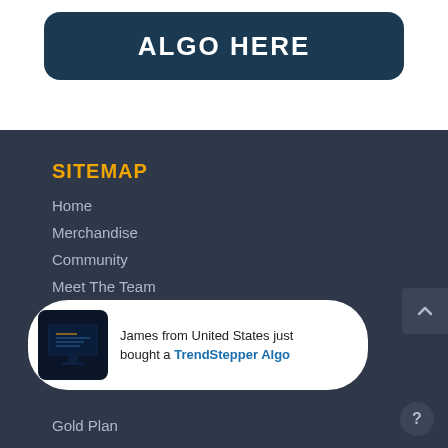ALGO HERE
SITEMAP
Home
Merchandise
Community
Meet The Team
James from United States just bought a TrendStepper Algo
Gold Plan